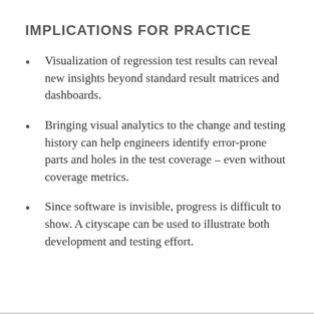IMPLICATIONS FOR PRACTICE
Visualization of regression test results can reveal new insights beyond standard result matrices and dashboards.
Bringing visual analytics to the change and testing history can help engineers identify error-prone parts and holes in the test coverage – even without coverage metrics.
Since software is invisible, progress is difficult to show. A cityscape can be used to illustrate both development and testing effort.